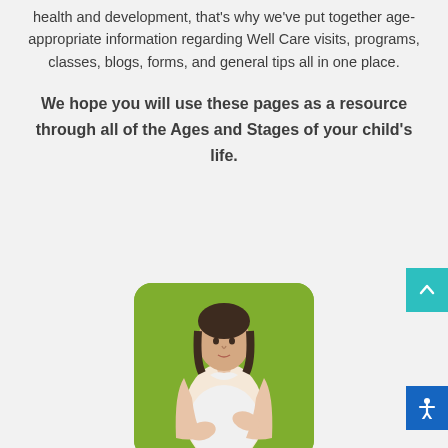health and development, that's why we've put together age-appropriate information regarding Well Care visits, programs, classes, blogs, forms, and general tips all in one place.
We hope you will use these pages as a resource through all of the Ages and Stages of your child's life.
[Figure (photo): A pregnant woman in a pink cardigan and white top, holding her baby bump with both hands, standing against a green background.]